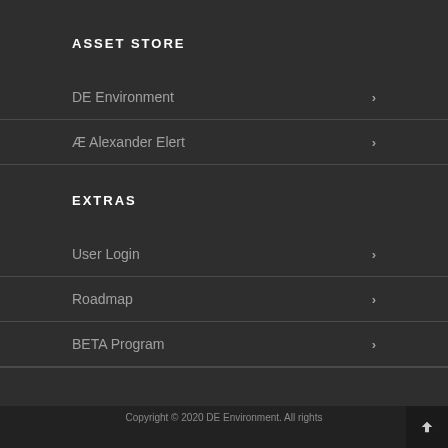ASSET STORE
DE Environment
Æ Alexander Elert
EXTRAS
User Login
Roadmap
BETA Program
Copyright © 2020 DE Environment. All rights